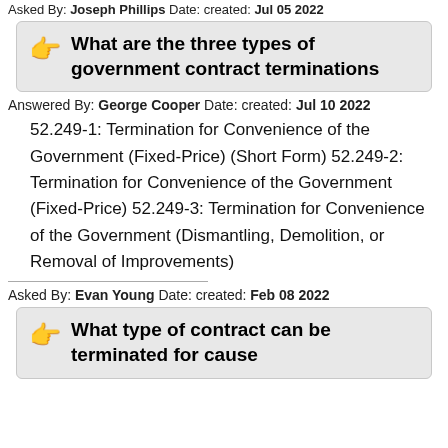Asked By: Joseph Phillips Date: created: Jul 05 2022
What are the three types of government contract terminations
Answered By: George Cooper Date: created: Jul 10 2022
52.249-1: Termination for Convenience of the Government (Fixed-Price) (Short Form) 52.249-2: Termination for Convenience of the Government (Fixed-Price) 52.249-3: Termination for Convenience of the Government (Dismantling, Demolition, or Removal of Improvements)
Asked By: Evan Young Date: created: Feb 08 2022
What type of contract can be terminated for cause